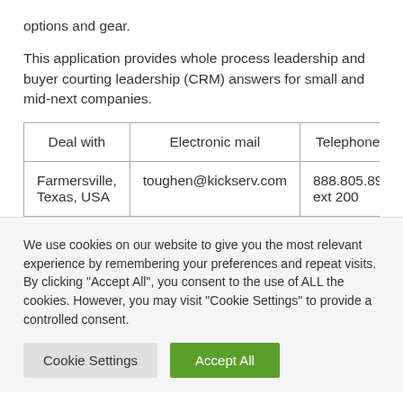options and gear.
This application provides whole process leadership and buyer courting leadership (CRM) answers for small and mid-next companies.
| Deal with | Electronic mail | Telephone |
| --- | --- | --- |
| Farmersville, Texas, USA | toughen@kickserv.com | 888.805.89 ext 200 |
We use cookies on our website to give you the most relevant experience by remembering your preferences and repeat visits. By clicking "Accept All", you consent to the use of ALL the cookies. However, you may visit "Cookie Settings" to provide a controlled consent.